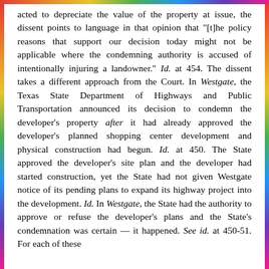acted to depreciate the value of the property at issue, the dissent points to language in that opinion that "[t]he policy reasons that support our decision today might not be applicable where the condemning authority is accused of intentionally injuring a landowner." Id. at 454. The dissent takes a different approach from the Court. In Westgate, the Texas State Department of Highways and Public Transportation announced its decision to condemn the developer's property after it had already approved the developer's planned shopping center development and physical construction had begun. Id. at 450. The State approved the developer's site plan and the developer had started construction, yet the State had not given Westgate notice of its pending plans to expand its highway project into the development. Id. In Westgate, the State had the authority to approve or refuse the developer's plans and the State's condemnation was certain — it happened. See id. at 450-51. For each of these